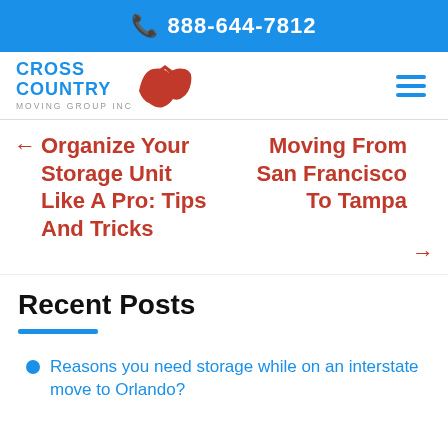📞 888-644-7812
[Figure (logo): Cross Country Moving Group Inc logo with red USA map silhouette and blue text]
← Organize Your Storage Unit Like A Pro: Tips And Tricks
Moving From San Francisco To Tampa →
Recent Posts
Reasons you need storage while on an interstate move to Orlando?